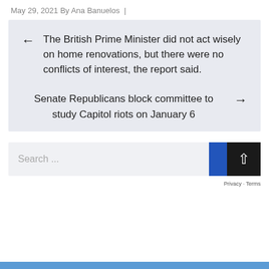May 29, 2021 By Ana Banuelos |
← The British Prime Minister did not act wisely on home renovations, but there were no conflicts of interest, the report said.
Senate Republicans block committee to study Capitol riots on January 6 →
Search ...